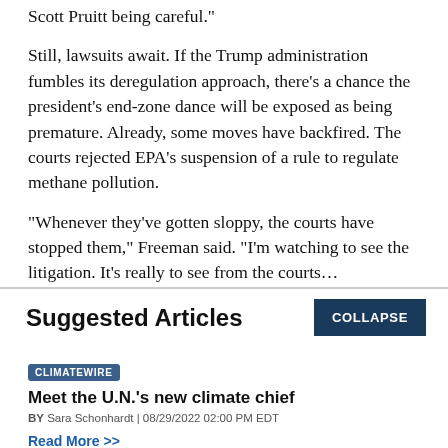Scott Pruitt being careful."
Still, lawsuits await. If the Trump administration fumbles its deregulation approach, there’s a chance the president’s end-zone dance will be exposed as being premature. Already, some moves have backfired. The courts rejected EPA’s suspension of a rule to regulate methane pollution.
"Whenever they’ve gotten sloppy, the courts have stopped them," Freeman said. "I’m watching to see the litigation. It’s really…
Suggested Articles
COLLAPSE
CLIMATEWIRE
Meet the U.N.’s new climate chief
BY Sara Schonhardt | 08/29/2022 02:00 PM EDT
Read More >>
CLIMATEWIRE
With prices soaring, natural gas faces uncertain future